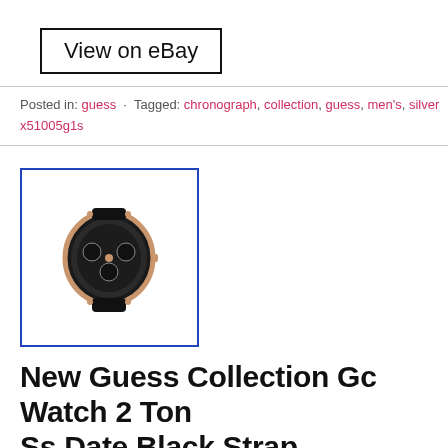View on eBay
Posted in: guess · Tagged: chronograph, collection, guess, men's, silver x51005g1s
[Figure (photo): Photo of a Guess chronograph watch with black strap and rose gold case, shown at an angle, inside a blue border frame]
New Guess Collection Gc Watch 2 Ton Ss Date Black Strap X79002g2s
January 19, 2021 8:11 pm · admin
[Figure (photo): Partial photo of a watch with rose gold case and black strap, cropped at bottom, inside a blue border frame]